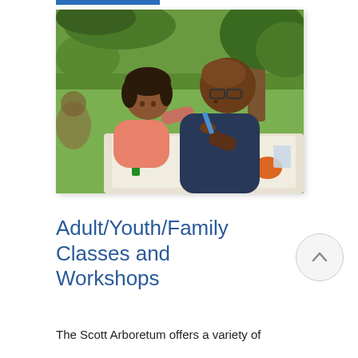[Figure (photo): An adult man and a young girl sitting at an outdoor table, doing a craft activity together in a green park setting. They appear to be working with Crayola crayons and other art supplies. The man is wearing a dark navy shirt and glasses.]
Adult/Youth/Family Classes and Workshops
The Scott Arboretum offers a variety of